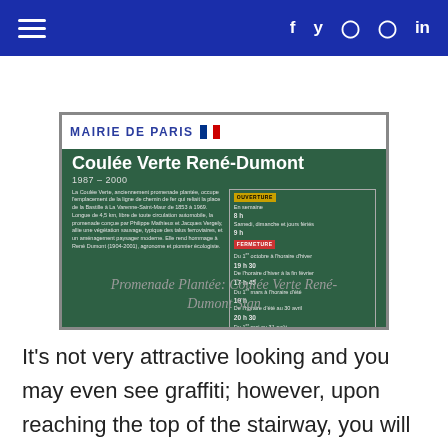≡  f  y  ⊙  ⊗  in
[Figure (photo): A green informational sign for Coulée Verte René-Dumont in Paris, with Mairie de Paris header, title 'Coulée Verte René-Dumont', dates 1987–2000, descriptive text in French, and opening/closing hours in a bordered box on the right.]
Promenade Plantée: Coulée Verte René-Dumont Sign
It's not very attractive looking and you may even see graffiti; however, upon reaching the top of the stairway, you will